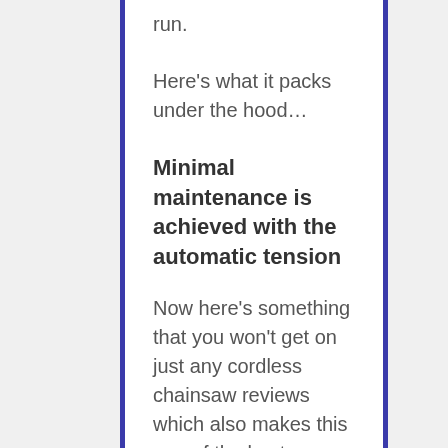run.
Here's what it packs under the hood…
Minimal maintenance is achieved with the automatic tension
Now here's something that you won't get on just any cordless chainsaw reviews which also makes this one of the best rechargeable chain saws for the money. whereas some have no tensioning system, other saws make this easy with the inclusion of a knob for adjusting the tension.